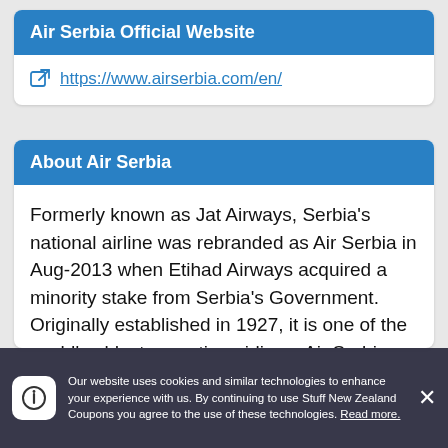Air Serbia Official Website
https://www.airserbia.com/en/
About Air Serbia
Formerly known as Jat Airways, Serbia’s national airline was rebranded as Air Serbia in Aug-2013 when Etihad Airways acquired a minority stake from Serbia’s Government. Originally established in 1927, it is one of the world’s oldest operating airlines. Air Serbia operates extensive services within Europe, the Middle East and Afr...
Our website uses cookies and similar technologies to enhance your experience with us. By continuing to use Stuff New Zealand Coupons you agree to the use of these technologies. Read more.